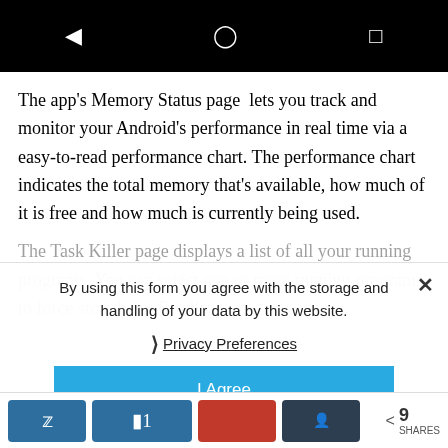[Figure (screenshot): Android navigation bar with back, home, and recent apps icons on black background]
The app's Memory Status page lets you track and monitor your Android's performance in real time via a easy-to-read performance chart. The performance chart indicates the total memory that's available, how much of it is free and how much is currently being used.
The Task Killer page displays a list of all your running programs. You can select one or more running programs to force stop them. Finally,
By using this form you agree with the storage and handling of your data by this website.
Privacy Preferences
I Agree